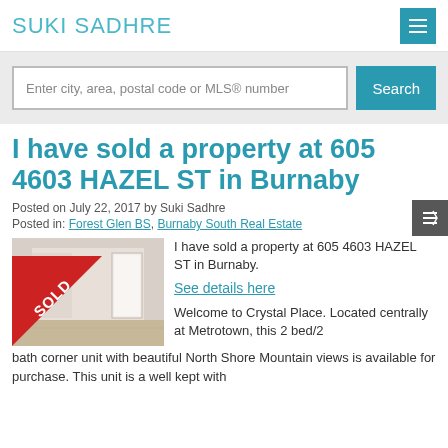SUKI SADHRE
Enter city, area, postal code or MLS® number
I have sold a property at 605 4603 HAZEL ST in Burnaby
Posted on July 22, 2017 by Suki Sadhre
Posted in: Forest Glen BS, Burnaby South Real Estate
[Figure (photo): Interior photo of a room with a SOLD ribbon overlay in red]
I have sold a property at 605 4603 HAZEL ST in Burnaby.
See details here
Welcome to Crystal Place. Located centrally at Metrotown, this 2 bed/2 bath corner unit with beautiful North Shore Mountain views is available for purchase. This unit is a well kept with